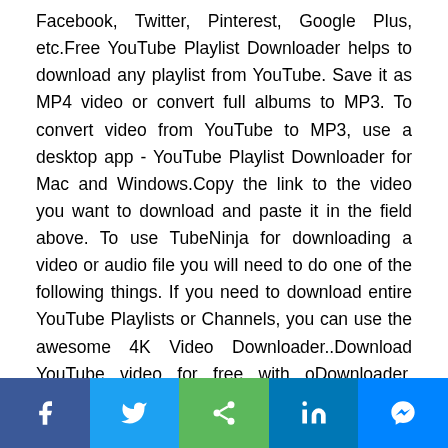Facebook, Twitter, Pinterest, Google Plus, etc.Free YouTube Playlist Downloader helps to download any playlist from YouTube. Save it as MP4 video or convert full albums to MP3. To convert video from YouTube to MP3, use a desktop app - YouTube Playlist Downloader for Mac and Windows.Copy the link to the video you want to download and paste it in the field above. To use TubeNinja for downloading a video or audio file you will need to do one of the following things. If you need to download entire YouTube Playlists or Channels, you can use the awesome 4K Video Downloader..Download YouTube video for free with oDownloader. Convert YouTube to MP4 in 4K, 1080p, 720p Copy link to the video in the browser address bar or right-click YouTube video and choose "Copy Download YouTube video in high quality - 4K Full HD, 2K, 1080p, 720p. Works on any platform - PC..Free Online YouTube video Downloader on Save From Net - Download all Youtube videos with the..The solution to this issue, instead of left clicking the
[Figure (other): Social sharing bar with five buttons: Facebook (blue), Twitter (light blue), Share/generic (green), LinkedIn (dark blue), Messenger (blue) — each showing a white icon]